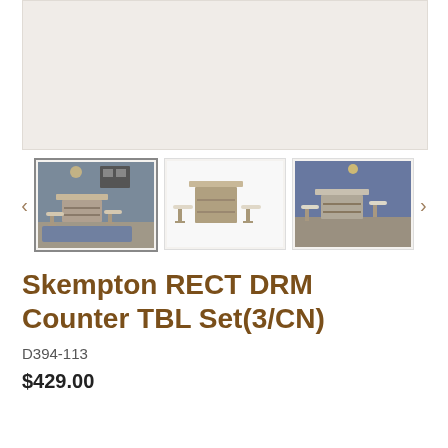[Figure (photo): Main product image area showing a dining counter table set in a light beige/cream background]
[Figure (photo): Thumbnail 1 (active/selected): Room scene showing Skempton counter table set with two stools on a blue rug]
[Figure (photo): Thumbnail 2: White background product photo of the counter table set with stools]
[Figure (photo): Thumbnail 3: Blue-toned room scene showing the counter table set with stools]
Skempton RECT DRM Counter TBL Set(3/CN)
D394-113
$429.00